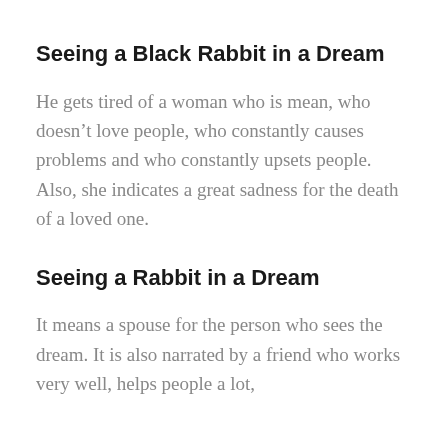Seeing a Black Rabbit in a Dream
He gets tired of a woman who is mean, who doesn’t love people, who constantly causes problems and who constantly upsets people. Also, she indicates a great sadness for the death of a loved one.
Seeing a Rabbit in a Dream
It means a spouse for the person who sees the dream. It is also narrated by a friend who works very well, helps people a lot,